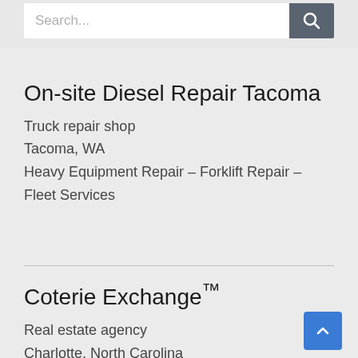[Figure (screenshot): Search bar with placeholder text 'Search...' and a dark gray search button with magnifying glass icon]
On-site Diesel Repair Tacoma
Truck repair shop
Tacoma, WA
Heavy Equipment Repair – Forklift Repair – Fleet Services
Coterie Exchange™
Real estate agency
Charlotte, North Carolina
Charlotte luxury Residential Real Estate agency